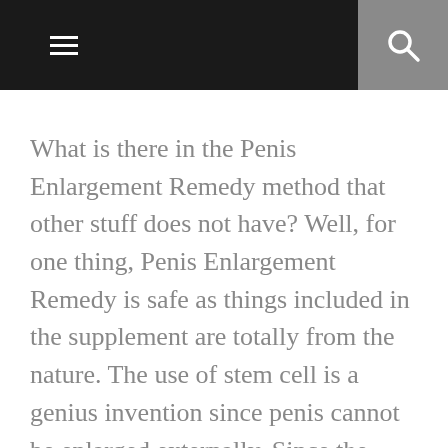[navigation bar with menu and search icons]
What is there in the Penis Enlargement Remedy method that other stuff does not have? Well, for one thing, Penis Enlargement Remedy is safe as things included in the supplement are totally from the nature. The use of stem cell is a genius invention since penis cannot be enlarged externally. Since the penis stops growing once it reaches